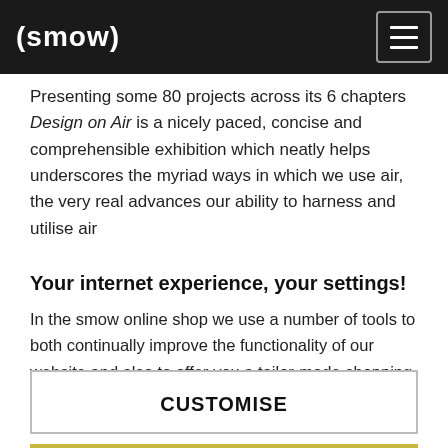(smow)
Presenting some 80 projects across its 6 chapters Design on Air is a nicely paced, concise and comprehensible exhibition which neatly helps underscores the myriad ways in which we use air, the very real advances our ability to harness and utilise air
Your internet experience, your settings!
In the smow online shop we use a number of tools to both continually improve the functionality of our website and also to offer you a tailor-made shopping experience. For this reason we evaluate certain data, for example which device you use to visit our website. If you do not agree to this, you have the option of adjusting your settings individually. Please click on
CUSTOMISE
AGREE TO ALL OPTIONAL TOOLS